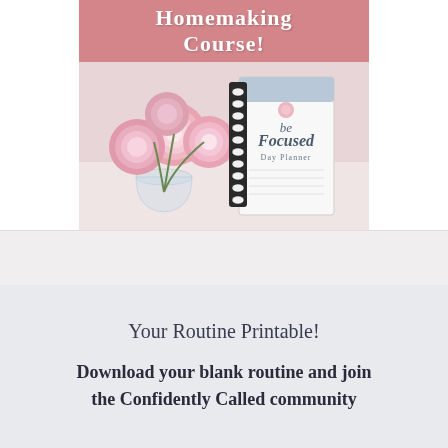[Figure (photo): A promotional banner and photo showing pink peony flowers in a glass vase beside a spiral-bound 'Focused Day Planner' notebook, with a pink banner at the top reading 'Homemaking Course!']
Your Routine Printable!
Download your blank routine and join the Confidently Called community